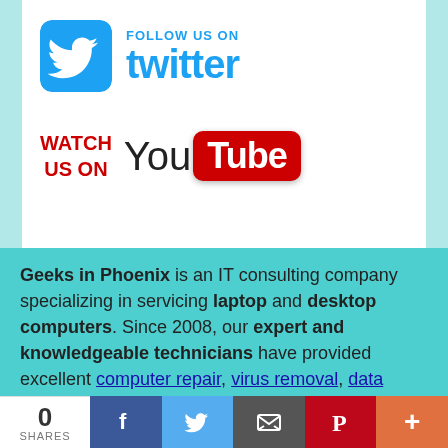[Figure (logo): Follow us on Twitter banner with Twitter bird icon and text 'FOLLOW US ON twitter' in blue]
[Figure (logo): Watch us on YouTube banner with 'WATCH US ON' in red and YouTube logo]
Geeks in Phoenix is an IT consulting company specializing in servicing laptop and desktop computers. Since 2008, our expert and knowledgeable technicians have provided excellent computer repair, virus removal, data recovery, photo manipulation, and website support to the greater Phoenix
0 SHARES | Facebook | Twitter | Email | Pinterest | More